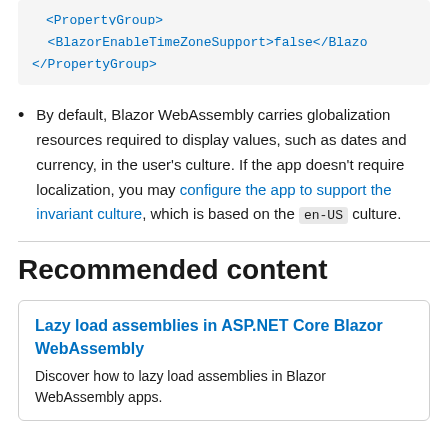[Figure (screenshot): Code block showing XML with PropertyGroup and BlazorEnableTimeZoneSupport set to false]
By default, Blazor WebAssembly carries globalization resources required to display values, such as dates and currency, in the user's culture. If the app doesn't require localization, you may configure the app to support the invariant culture, which is based on the en-US culture.
Recommended content
Lazy load assemblies in ASP.NET Core Blazor WebAssembly
Discover how to lazy load assemblies in Blazor WebAssembly apps.